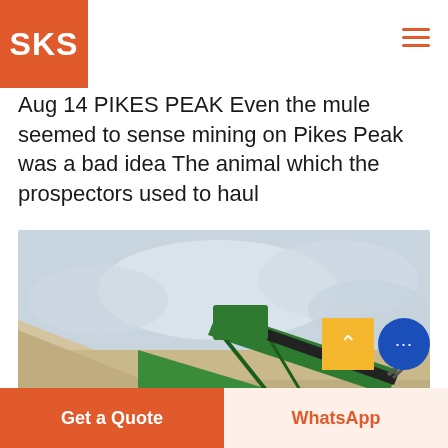SKS
Aug 14 PIKES PEAK Even the mule seemed to sense mining on Pikes Peak was a bad idea The animal which the prospectors used to haul
[Figure (photo): Green mining/screening machine on a gravel/rock quarry site with cloudy sky background. Large industrial conveyor and screening equipment in green color, surrounded by piles of sand and gravel.]
Get a Quote
WhatsApp